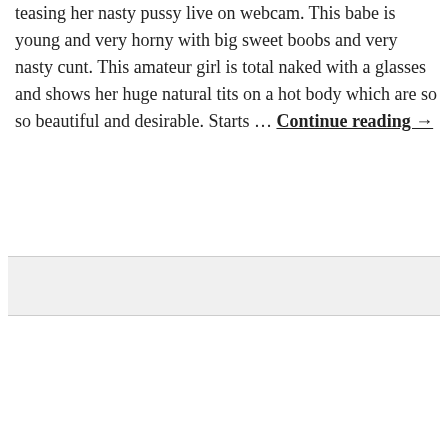teasing her nasty pussy live on webcam. This babe is young and very horny with big sweet boobs and very nasty cunt. This amateur girl is total naked with a glasses and shows her huge natural tits on a hot body which are so so beautiful and desirable. Starts … Continue reading →